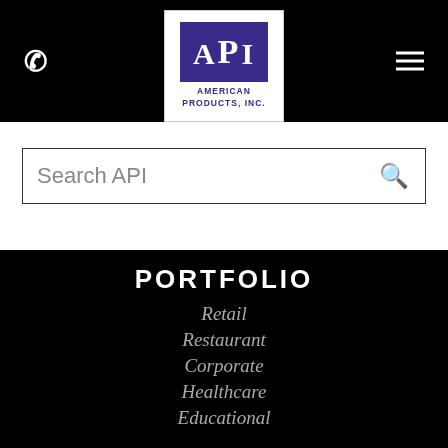[Figure (logo): API American Products Inc. logo: purple square with white letters A P I, company name below in purple]
Search API
PORTFOLIO
Retail
Restaurant
Corporate
Healthcare
Educational